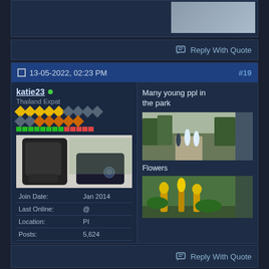[Figure (screenshot): Partial top strip of previous forum post with image thumbnail]
Reply With Quote
#19  13-05-2022, 02:23 PM
katie23 • Thailand Expat
[Figure (photo): User avatar showing black backpacks on floor]
| Field | Value |
| --- | --- |
| Join Date: | Jan 2014 |
| Last Online: | @ |
| Location: | PI |
| Posts: | 5,624 |
Many young ppl in the park
[Figure (photo): Photo of young people walking in a park with trees]
Flowers
[Figure (photo): Photo of yellow flowers in a garden]
Reply With Quote